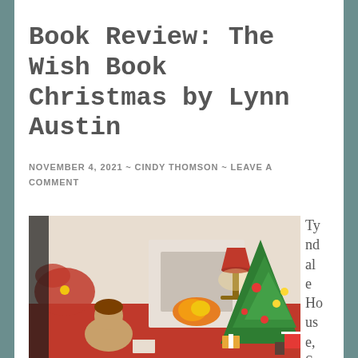Book Review: The Wish Book Christmas by Lynn Austin
NOVEMBER 4, 2021 ~ CINDY THOMSON ~ LEAVE A COMMENT
[Figure (illustration): Vintage-style illustration of a cozy Christmas scene: a child sitting by a fireplace with a Christmas tree decorated with ornaments and gifts underneath, a lamp on a side table, and poinsettia flowers visible on the left.]
Tyndale House, Se